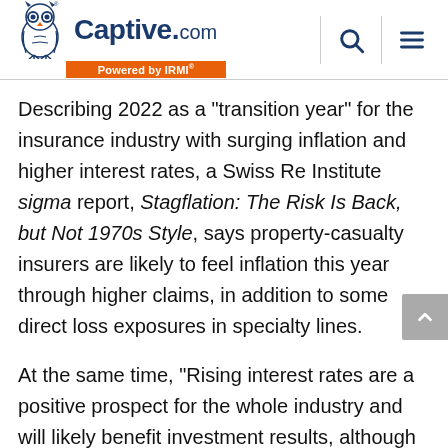Captive.com - Powered by IRMI
Describing 2022 as a "transition year" for the insurance industry with surging inflation and higher interest rates, a Swiss Re Institute sigma report, Stagflation: The Risk Is Back, but Not 1970s Style, says property-casualty insurers are likely to feel inflation this year through higher claims, in addition to some direct loss exposures in specialty lines.
At the same time, "Rising interest rates are a positive prospect for the whole industry and will likely benefit investment results, although volatile financial markets and widening bond spreads are